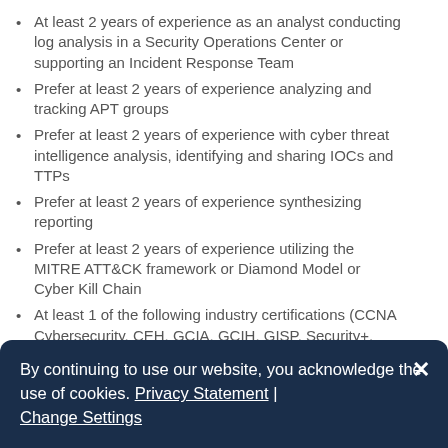At least 2 years of experience as an analyst conducting log analysis in a Security Operations Center or supporting an Incident Response Team
Prefer at least 2 years of experience analyzing and tracking APT groups
Prefer at least 2 years of experience with cyber threat intelligence analysis, identifying and sharing IOCs and TTPs
Prefer at least 2 years of experience synthesizing reporting
Prefer at least 2 years of experience utilizing the MITRE ATT&CK framework or Diamond Model or Cyber Kill Chain
At least 1 of the following industry certifications (CCNA Cybersecurity, CEH, GCIA, GCIH, GISP, Security+, AWS Cloud Practitioner, AWS Solutions Architect)
Preferred Requirements:
Bachelor's Degree in fields such as Cybersecurity, Intelligence, Computer Science, Information Systems or
By continuing to use our website, you acknowledge the use of cookies. Privacy Statement | Change Settings